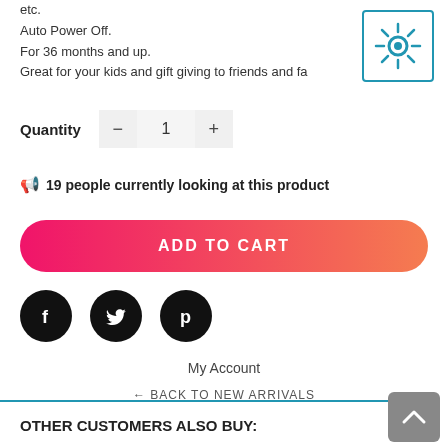etc.
Auto Power Off.
For 36 months and up.
Great for your kids and gift giving to friends and fa
[Figure (illustration): Sun icon in a rounded blue-bordered square]
Quantity - 1 +
📣 19 people currently looking at this product
ADD TO CART
[Figure (illustration): Social media share buttons: Facebook, Twitter, Pinterest]
My Account
← BACK TO NEW ARRIVALS
OTHER CUSTOMERS ALSO BUY: